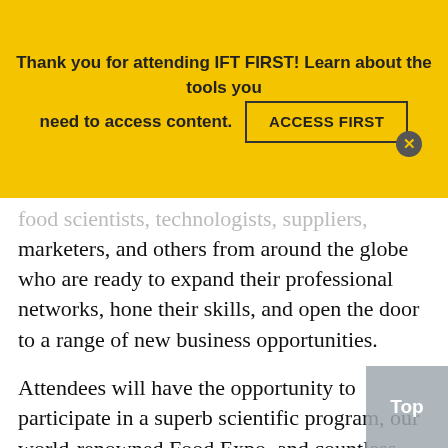Thank you for attending IFT FIRST! Learn about the tools you need to access content.
ACCESS FIRST
food scientists, technologists, suppliers, marketers, and others from around the globe who are ready to expand their professional networks, hone their skills, and open the door to a range of new business opportunities.
Attendees will have the opportunity to participate in a superb scientific program, our world-renowned Food Expo, and countless networking opportunities. We kick off our official program on Saturday evening with the annual Awards Celebration honoring the 2009 Achievement Award Laureates and newly